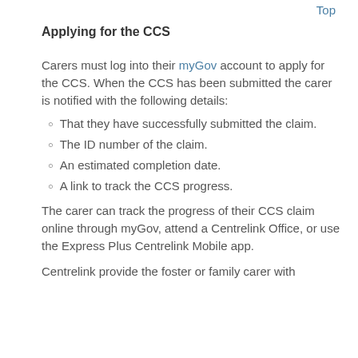Top
Applying for the CCS
Carers must log into their myGov account to apply for the CCS. When the CCS has been submitted the carer is notified with the following details:
That they have successfully submitted the claim.
The ID number of the claim.
An estimated completion date.
A link to track the CCS progress.
The carer can track the progress of their CCS claim online through myGov, attend a Centrelink Office, or use the Express Plus Centrelink Mobile app.
Centrelink provide the foster or family carer with a result of the claim and...